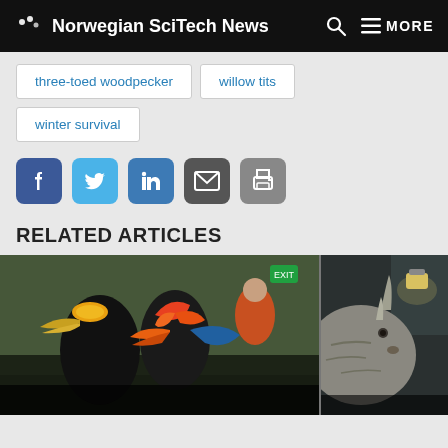Norwegian SciTech News
three-toed woodpecker
willow tits
winter survival
[Figure (other): Social media sharing icons: Facebook, Twitter, LinkedIn, Email, Print]
RELATED ARTICLES
[Figure (photo): Two photos side by side: left shows colorful exotic birds (hornbills) in a museum display with visitors in background; right shows a rhinoceros head sculpture or taxidermy in a dimly lit room with a wall lamp.]